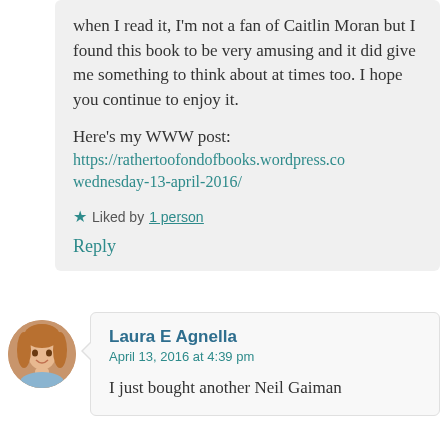when I read it, I'm not a fan of Caitlin Moran but I found this book to be very amusing and it did give me something to think about at times too. I hope you continue to enjoy it.
Here's my WWW post:
https://rathertoofondofbooks.wordpress.com/wednesday-13-april-2016/
★ Liked by 1 person
Reply
Laura E Agnella
April 13, 2016 at 4:39 pm
I just bought another Neil Gaiman